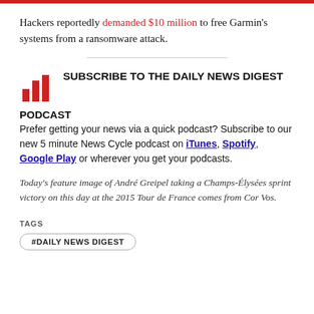Hackers reportedly demanded $10 million to free Garmin's systems from a ransomware attack.
[Figure (illustration): Red bar chart icon used as podcast/news digest logo]
SUBSCRIBE TO THE DAILY NEWS DIGEST
PODCAST
Prefer getting your news via a quick podcast? Subscribe to our new 5 minute News Cycle podcast on iTunes, Spotify, Google Play or wherever you get your podcasts.
Today's feature image of André Greipel taking a Champs-Élysées sprint victory on this day at the 2015 Tour de France comes from Cor Vos.
TAGS
#DAILY NEWS DIGEST